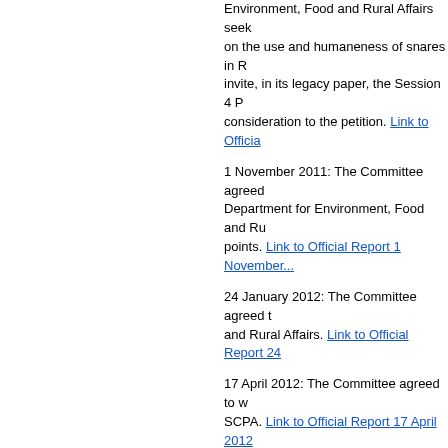Environment, Food and Rural Affairs seeking views on the use and humaneness of snares in R... invite, in its legacy paper, the Session 4 P... consideration to the petition. Link to Officia...
1 November 2011: The Committee agreed... Department for Environment, Food and Ru... points. Link to Official Report 1 November...
24 January 2012: The Committee agreed t... and Rural Affairs. Link to Official Report 24...
17 April 2012: The Committee agreed to w... SCPA. Link to Official Report 17 April 2012...
26 June 2012: The Committee agreed to n... Change and Environment Committee, und... issues raised in the petition. Link to Official...
12 September 2012: The Rural Affairs, Cli... considered its work programme and agree... the petition.
Written Submissions:
PE1124/A: Association of Chief Police ... (44KB pdf)
PE1124/B: Letter from Scottish Estate...
PE1124/C: Scottish Gamekeepers Ass...
PE1124/D: Scottish Rural Property and... (64KB pdf)
PE1124/E: Scottish SPCA letter of 24 ...
PE1124/F: Scottish Countryside Allia...